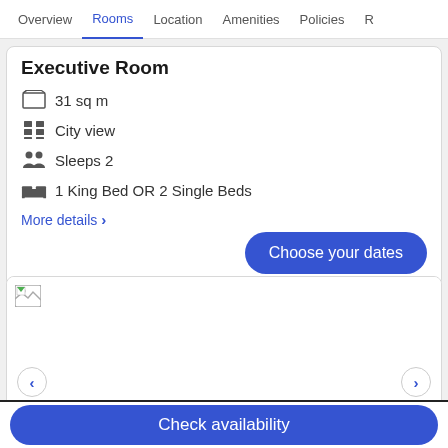Overview  Rooms  Location  Amenities  Policies  R
Executive Room
31 sq m
City view
Sleeps 2
1 King Bed OR 2 Single Beds
More details >
Choose your dates
[Figure (photo): Room image placeholder (broken image icon)]
Check availability